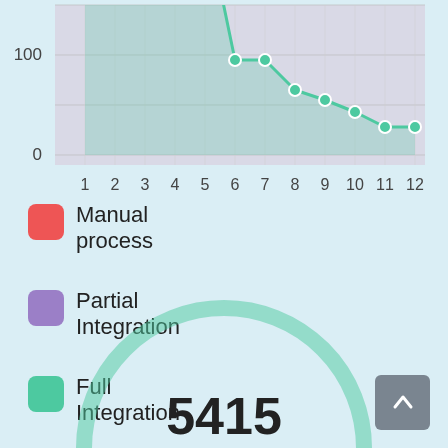[Figure (line-chart): ]
Manual process
Partial Integration
Full Integration
[Figure (donut-chart): Large donut/gauge chart showing value 5415, partially visible at bottom of page]